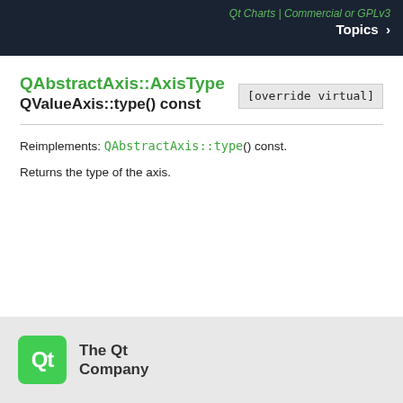Qt Charts | Commercial or GPLv3  Topics >
QAbstractAxis::AxisType QValueAxis::type() const [override virtual]
Reimplements: QAbstractAxis::type() const.
Returns the type of the axis.
© 2022 The Qt Company Ltd. Documentation contributions included herein are the copyrights of their respective owners. The documentation provided herein is licensed under the terms of the GNU Free Documentation License version 1.3 as published by the Free Software Foundation. Qt and respective logos are trademarks of The Qt Company Ltd. in Finland and/or other countries worldwide. All other trademarks are property of their respective owners.
[Figure (logo): The Qt Company logo — green rounded square with 'Qt' text, beside 'The Qt Company' text]